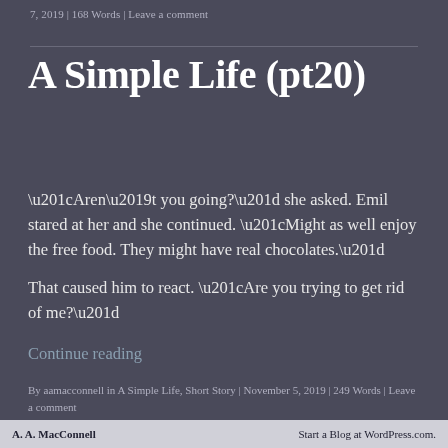7, 2019 | 168 Words | Leave a comment
A Simple Life (pt20)
“Aren’t you going?” she asked. Emil stared at her and she continued. “Might as well enjoy the free food. They might have real chocolates.”

That caused him to react. “Are you trying to get rid of me?”
Continue reading
By aamacconnell in A Simple Life, Short Story | November 5, 2019 | 249 Words | Leave a comment
A. A. MacConnell    Start a Blog at WordPress.com.